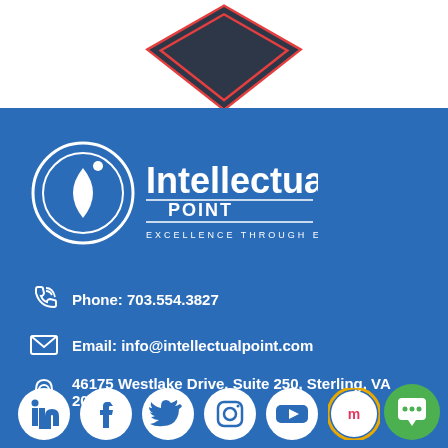[Figure (logo): Partial view of a shield/badge logo at top of page]
[Figure (logo): Intellectual Point logo - circle with leaf and text 'Intellectual Point - Excellence Through Education']
Phone: 703.554.3827
Email: info@intellectualpoint.com
46175 Westlake Drive, Suite 250, Sterling, VA 20165
[Figure (infographic): Social media icons row: LinkedIn, Facebook, Twitter, Instagram, YouTube, Meetup; plus green chat button]